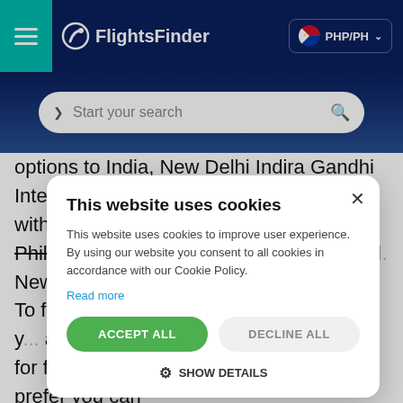FlightsFinder — PHP/PH
[Figure (screenshot): Search bar with text 'Start your search' and magnifying glass icon]
options to India, New Delhi Indira Gandhi International Airport, DEL in 2022/2023 with FlightsFinder departing from the Philippines as well as the rest of the world. New Delhi Indira 28.56649971, 7... India. To find th... enter the depo... then choose y... are with your t... to India can po... look for flexible after your travel dates or if you prefer you can
This website uses cookies
This website uses cookies to improve user experience. By using our website you consent to all cookies in accordance with our Cookie Policy.
Read more
ACCEPT ALL
DECLINE ALL
SHOW DETAILS